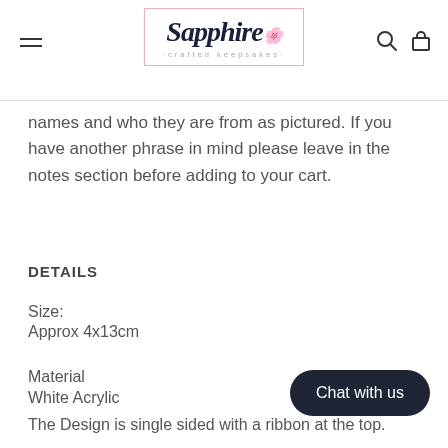[Figure (logo): Sapphire crafted keepsakes logo in a pink-bordered box with cursive script]
names and who they are from as pictured. If you have another phrase in mind please leave in the notes section before adding to your cart.
DETAILS
Size:
Approx 4x13cm
Material
White Acrylic
The Design is single sided with a ribbon at the top.